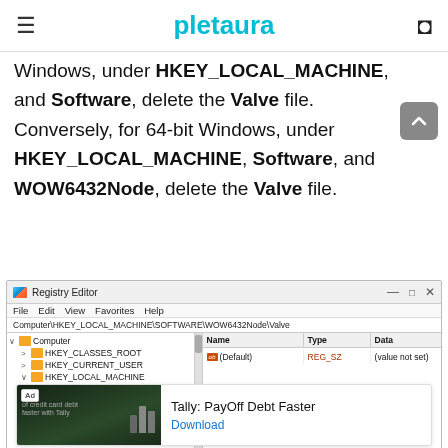pletaura
Windows, under HKEY_LOCAL_MACHINE, and Software, delete the Valve file. Conversely, for 64-bit Windows, under HKEY_LOCAL_MACHINE, Software, and WOW6432Node, delete the Valve file.
[Figure (screenshot): Windows Registry Editor window showing Computer\HKEY_LOCAL_MACHINE\SOFTWARE\WOW6432Node\Valve path with tree on left and Name/Type/Data panel on right showing (Default) REG_SZ (value not set)]
[Figure (other): Advertisement banner for Tally: PayOff Debt Faster with a Download link]